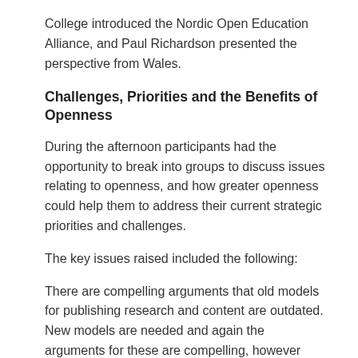College introduced the Nordic Open Education Alliance, and Paul Richardson presented the perspective from Wales.
Challenges, Priorities and the Benefits of Openness
During the afternoon participants had the opportunity to break into groups to discuss issues relating to openness, and how greater openness could help them to address their current strategic priorities and challenges.
The key issues raised included the following:
There are compelling arguments that old models for publishing research and content are outdated. New models are needed and again the arguments for these are compelling, however these new models require changes in attitude and practice. University business models don't necessarily need to be built on sale of